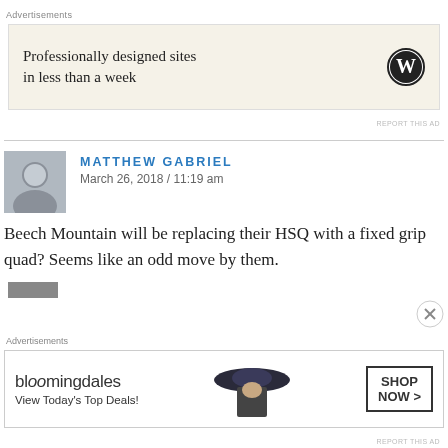Advertisements
[Figure (screenshot): WordPress advertisement banner: 'Professionally designed sites in less than a week' with WordPress logo on beige background]
REPORT THIS AD
MATTHEW GABRIEL
March 26, 2018 / 11:19 am
Beech Mountain will be replacing their HSQ with a fixed grip quad? Seems like an odd move by them.
Like
Reply
Advertisements
[Figure (screenshot): Bloomingdale's advertisement: 'View Today's Top Deals!' with SHOP NOW button and image of woman in hat]